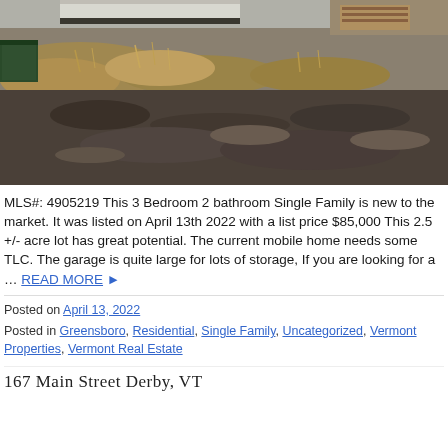[Figure (photo): Outdoor photo showing a dirt and gravel lot with dry brown grass and vegetation mounds, a partial view of a white structure at the top, and wood pallets visible in the upper right corner. Taken in early spring or late winter.]
MLS#: 4905219 This 3 Bedroom 2 bathroom Single Family is new to the market. It was listed on April 13th 2022 with a list price $85,000 This 2.5 +/- acre lot has great potential. The current mobile home needs some TLC. The garage is quite large for lots of storage, If you are looking for a ... READ MORE ▶
Posted on April 13, 2022
Posted in Greensboro, Residential, Single Family, Uncategorized, Vermont Properties, Vermont Real Estate
167 Main Street Derby, VT